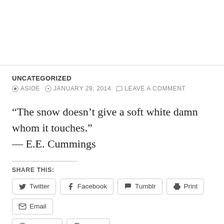UNCATEGORIZED
● ASIDE  ⊙ JANUARY 29, 2014  ● LEAVE A COMMENT
“The snow doesn’t give a soft white damn whom it touches.”
— E.E. Cummings
SHARE THIS:
Twitter  Facebook  Tumblr  Print  Email  Pinterest  Reddit
Loading...